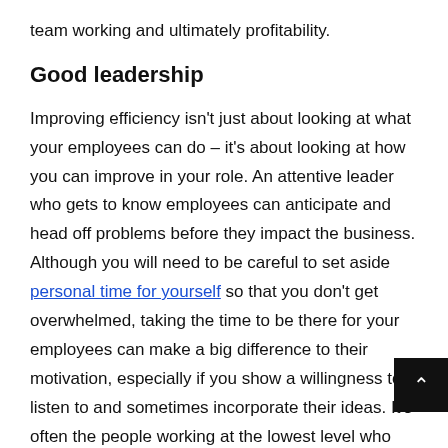team working and ultimately profitability.
Good leadership
Improving efficiency isn't just about looking at what your employees can do – it's about looking at how you can improve in your role. An attentive leader who gets to know employees can anticipate and head off problems before they impact the business. Although you will need to be careful to set aside personal time for yourself so that you don't get overwhelmed, taking the time to be there for your employees can make a big difference to their motivation, especially if you show a willingness to listen to and sometimes incorporate their ideas. It's often the people working at the lowest level who are the quickest to notice where efficiency has broken down, so they can have really valuable information to contribute.